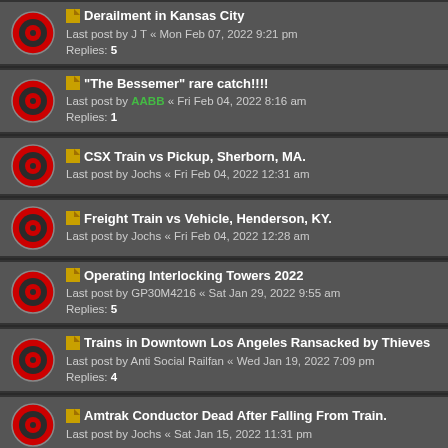Derailment in Kansas City
Last post by J T « Mon Feb 07, 2022 9:21 pm
Replies: 5
"The Bessemer" rare catch!!!!
Last post by AABB « Fri Feb 04, 2022 8:16 am
Replies: 1
CSX Train vs Pickup, Sherborn, MA.
Last post by Jochs « Fri Feb 04, 2022 12:31 am
Freight Train vs Vehicle, Henderson, KY.
Last post by Jochs « Fri Feb 04, 2022 12:28 am
Operating Interlocking Towers 2022
Last post by GP30M4216 « Sat Jan 29, 2022 9:55 am
Replies: 5
Trains in Downtown Los Angeles Ransacked by Thieves
Last post by Anti Social Railfan « Wed Jan 19, 2022 7:09 pm
Replies: 4
Amtrak Conductor Dead After Falling From Train.
Last post by Jochs « Sat Jan 15, 2022 11:31 pm
Man Fatally Shot on Amtrak Train in MO.
Last post by Jochs « Sat Jan 15, 2022 10:55 pm